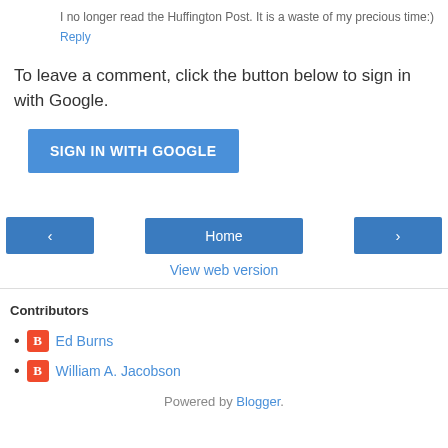I no longer read the Huffington Post. It is a waste of my precious time:)
Reply
To leave a comment, click the button below to sign in with Google.
[Figure (screenshot): Blue button labeled SIGN IN WITH GOOGLE]
[Figure (screenshot): Navigation bar with left arrow button, Home button, and right arrow button]
View web version
Contributors
Ed Burns
William A. Jacobson
Powered by Blogger.